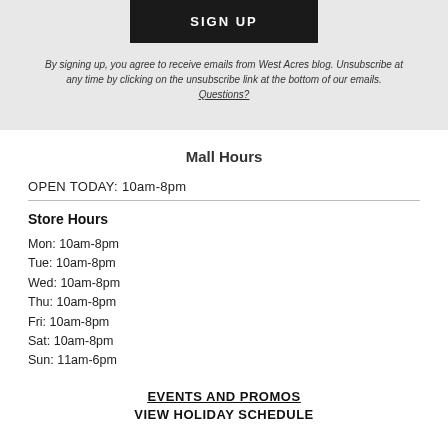SIGN UP
By signing up, you agree to receive emails from West Acres blog. Unsubscribe at any time by clicking on the unsubscribe link at the bottom of our emails. Questions?
Mall Hours
OPEN TODAY: 10am-8pm
Store Hours
Mon: 10am-8pm
Tue: 10am-8pm
Wed: 10am-8pm
Thu: 10am-8pm
Fri: 10am-8pm
Sat: 10am-8pm
Sun: 11am-6pm
EVENTS AND PROMOS
VIEW HOLIDAY SCHEDULE